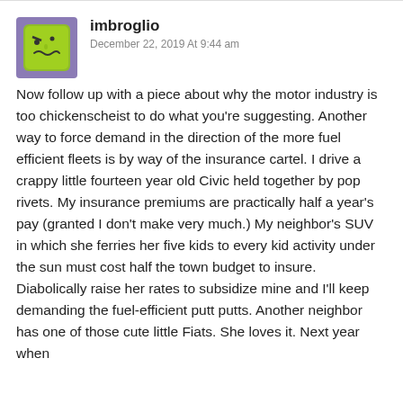[Figure (illustration): Avatar icon of a green cartoon face with an angry/grumpy expression, on a purple background]
imbroglio
December 22, 2019 At 9:44 am
Now follow up with a piece about why the motor industry is too chickenscheist to do what you’re suggesting. Another way to force demand in the direction of the more fuel efficient fleets is by way of the insurance cartel. I drive a crappy little fourteen year old Civic held together by pop rivets. My insurance premiums are practically half a year’s pay (granted I don’t make very much.) My neighbor’s SUV in which she ferries her five kids to every kid activity under the sun must cost half the town budget to insure. Diabolically raise her rates to subsidize mine and I’ll keep demanding the fuel-efficient putt putts. Another neighbor has one of those cute little Fiats. She loves it. Next year when